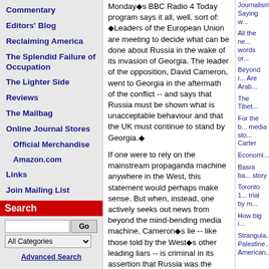Commentary
Editors' Blog
Reclaiming America
The Splendid Failure of Occupation
The Lighter Side
Reviews
The Mailbag
Online Journal Stores
Official Merchandise
Amazon.com
Links
Join Mailing List
Search
Monday◆s BBC Radio 4 Today program says it all, well, sort of: ◆Leaders of the European Union are meeting to decide what can be done about Russia in the wake of its invasion of Georgia. The leader of the opposition, David Cameron, went to Georgia in the aftermath of the conflict -- and says that Russia must be shown what is unacceptable behaviour and that the UK must continue to stand by Georgia.◆
If one were to rely on the mainstream propaganda machine anywhere in the West, this statement would perhaps make sense. But when, instead, one actively seeks out news from beyond the mind-bending media machine, Cameron◆s lie -- like those told by the West◆s other leading liars -- is criminal in its assertion that Russia was the aggressor. A lie because despite it being known by all concerned, and by NATO leaders in particular, that Russia was responding to Georgia◆s assault on South Ossetia, this fact is simply omitted by those who seem hell-bent on starting Cold War II, and who
Journalism: Saying w...
All the ne... words or...
Beyond r... Are Arab...
The Tibet...
For the b... media sto... Carter
Economi...
Basra ba... story
Toronto 1... trial by m...
How big i...
Strangula... Palestine... American...